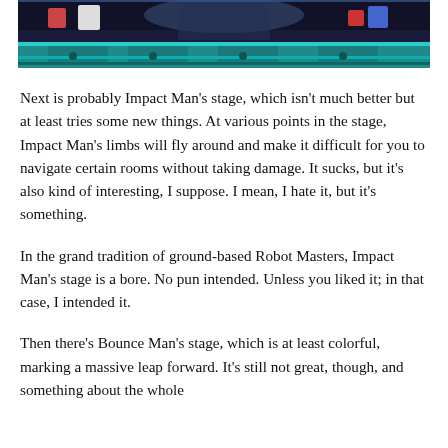[Figure (screenshot): A screenshot from a video game showing a stage scene with a teal/cyan platform structure against a dark blue background, with colorful character elements visible at the top.]
Next is probably Impact Man's stage, which isn't much better but at least tries some new things. At various points in the stage, Impact Man's limbs will fly around and make it difficult for you to navigate certain rooms without taking damage. It sucks, but it's also kind of interesting, I suppose. I mean, I hate it, but it's something.
In the grand tradition of ground-based Robot Masters, Impact Man's stage is a bore. No pun intended. Unless you liked it; in that case, I intended it.
Then there's Bounce Man's stage, which is at least colorful, marking a massive leap forward. It's still not great, though, and something about the whole